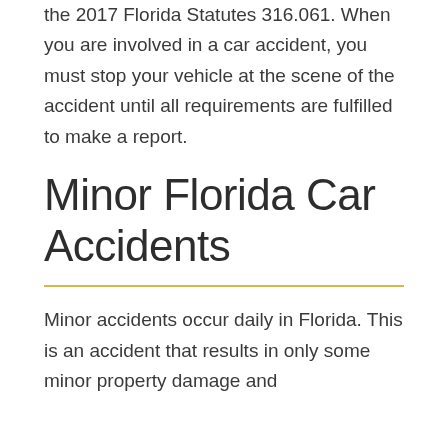the 2017 Florida Statutes 316.061. When you are involved in a car accident, you must stop your vehicle at the scene of the accident until all requirements are fulfilled to make a report.
Minor Florida Car Accidents
Minor accidents occur daily in Florida. This is an accident that results in only some minor property damage and